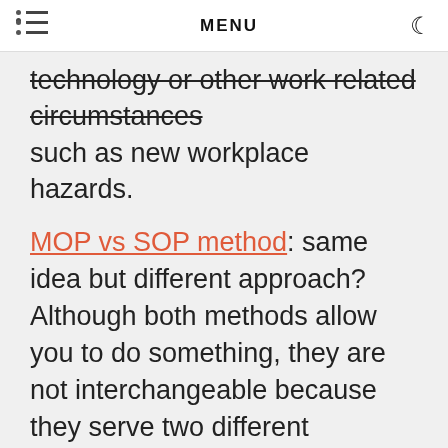MENU
technology or other work related circumstances such as new workplace hazards.
MOP vs SOP method: same idea but different approach? Although both methods allow you to do something, they are not interchangeable because they serve two different functions: the method of procedure (MOP) is used by employees to work safely and method of operation (SOP) allows employees to perform their tasks.
In order for a method of procedure method is methodical, methodical and detailed description of the necessary steps that must be followed to achieve a specific goal. In fact, it describes what